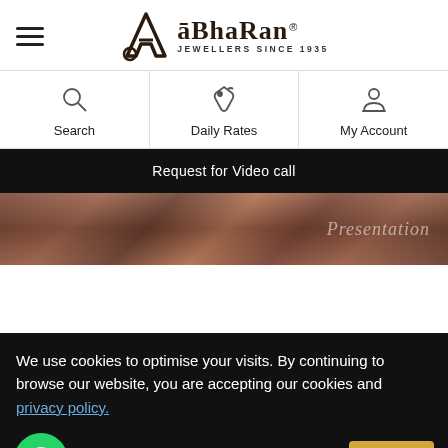[Figure (logo): Abharan Jewellers logo with hamburger menu icon on the left. Logo shows stylized A with ring and text 'aBhaRan' with registered mark and tagline 'JEWELLERS SINCE 1935']
[Figure (infographic): Three navigation icons in a row: Search (magnifying glass icon), Daily Rates (price tag/bell icon), My Account (person/account icon)]
Request for Video call
[Figure (photo): Metallic dark brown/copper gradient band with partially visible italic text 'Presentation' on the right side]
We use cookies to optimise your visits. By continuing to browse our website, you are accepting our cookies and privacy policy.